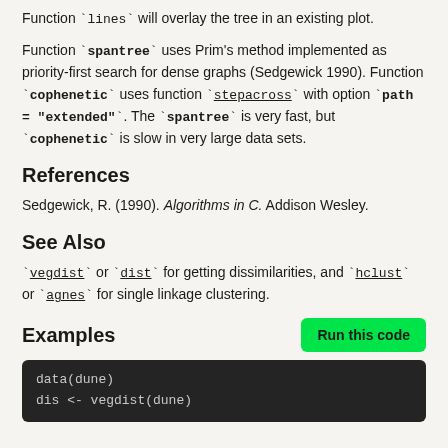Function `lines` will overlay the tree in an existing plot.
Function `spantree` uses Prim's method implemented as priority-first search for dense graphs (Sedgewick 1990). Function `cophenetic` uses function `stepacross` with option `path = "extended"`. The `spantree` is very fast, but `cophenetic` is slow in very large data sets.
References
Sedgewick, R. (1990). Algorithms in C. Addison Wesley.
See Also
`vegdist` or `dist` for getting dissimilarities, and `hclust` or `agnes` for single linkage clustering.
Examples
Run this code
data(dune)
dis <- vegdist(dune)